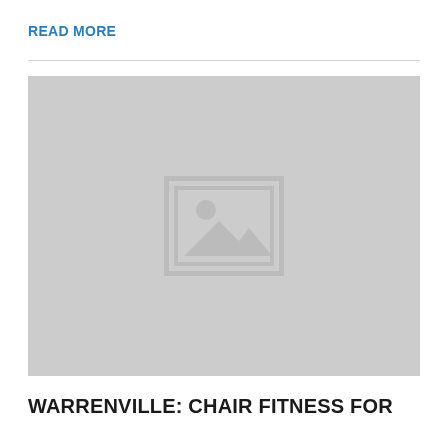READ MORE
[Figure (photo): Placeholder image with grey background and image icon in center]
WARRENVILLE: CHAIR FITNESS FOR